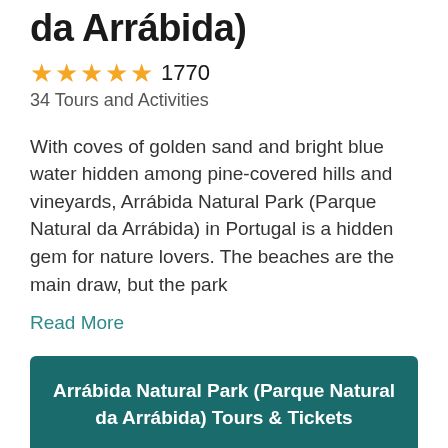da Arrábida)
★★★★★ 1770
34 Tours and Activities
With coves of golden sand and bright blue water hidden among pine-covered hills and vineyards, Arrábida Natural Park (Parque Natural da Arrábida) in Portugal is a hidden gem for nature lovers. The beaches are the main draw, but the park
Read More
Arrábida Natural Park (Parque Natural da Arrábida) Tours & Tickets